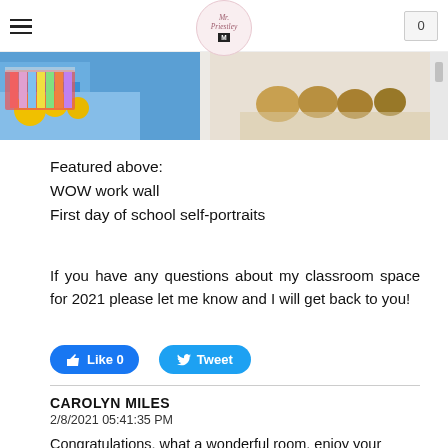Mr. Priestley [logo]  0
[Figure (photo): Partial photo of a classroom showing yellow bowls, colorful supplies in a clear organizer, and brown items on a shelf against a white background.]
Featured above:
WOW work wall
First day of school self-portraits
If you have any questions about my classroom space for 2021 please let me know and I will get back to you!
Like 0   Tweet
CAROLYN MILES
2/8/2021 05:41:35 PM
Congratulations, what a wonderful room, enjoy your